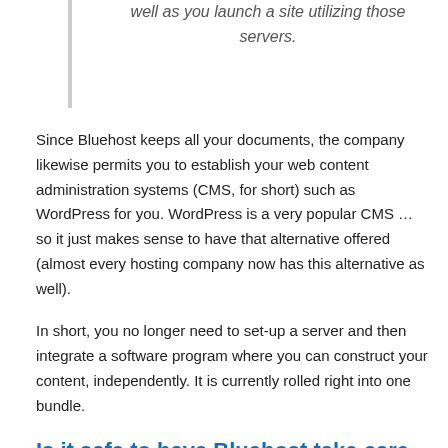well as you launch a site utilizing those servers.
Since Bluehost keeps all your documents, the company likewise permits you to establish your web content administration systems (CMS, for short) such as WordPress for you. WordPress is a very popular CMS … so it just makes sense to have that alternative offered (almost every hosting company now has this alternative as well).
In short, you no longer need to set-up a server and then integrate a software program where you can construct your content, independently. It is currently rolled right into one bundle.
Is it safe to have Bluehost take care of your web sites?